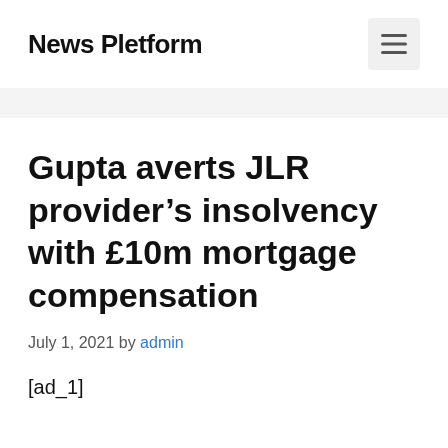News Pletform
Gupta averts JLR provider's insolvency with £10m mortgage compensation
July 1, 2021 by admin
[ad_1]